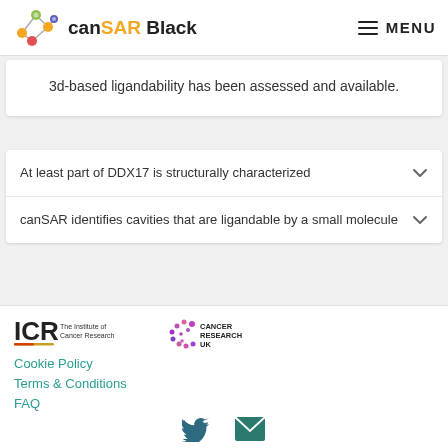canSAR Black  MENU
3d-based ligandability has been assessed and available.
At least part of DDX17 is structurally characterized
canSAR identifies cavities that are ligandable by a small molecule
[Figure (logo): ICR The Institute of Cancer Research logo and Cancer Research UK logo]
Cookie Policy
Terms & Conditions
FAQ
[Figure (illustration): Twitter bird icon and email envelope icon]